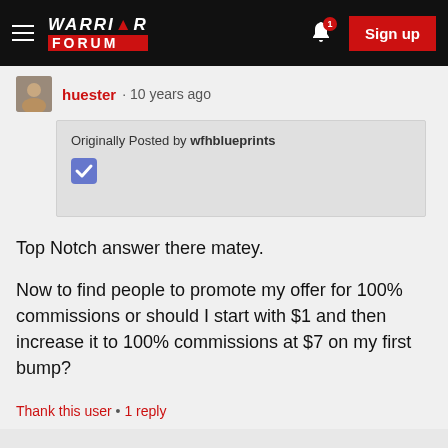Warrior Forum — navigation bar with hamburger menu, logo, bell notification (1), and Sign up button
huester · 10 years ago
Originally Posted by wfhblueprints
Top Notch answer there matey.

Now to find people to promote my offer for 100% commissions or should I start with $1 and then increase it to 100% commissions at $7 on my first bump?
Thank this user  •  1 reply